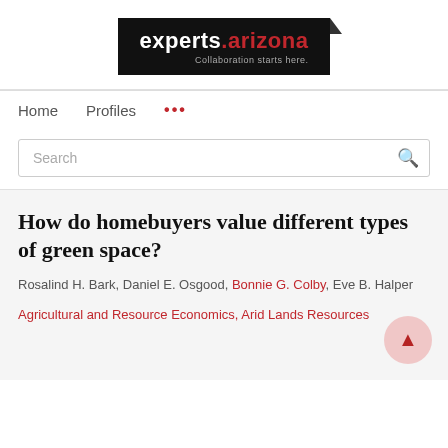[Figure (logo): experts.arizona logo — black background with white text 'experts.' and red '.arizona', subtitle 'Collaboration starts here.']
Home   Profiles   ...
Search
How do homebuyers value different types of green space?
Rosalind H. Bark, Daniel E. Osgood, Bonnie G. Colby, Eve B. Halper
Agricultural and Resource Economics, Arid Lands Resources